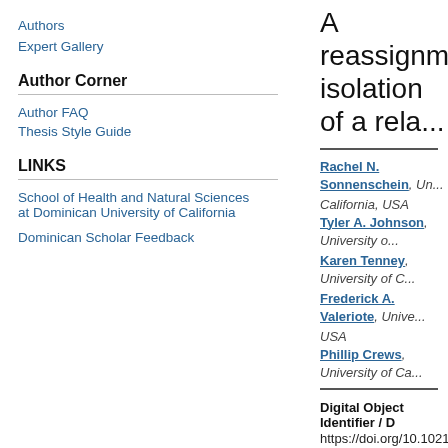Authors
Expert Gallery
Author Corner
Author FAQ
Thesis Style Guide
LINKS
School of Health and Natural Sciences at Dominican University of California
Dominican Scholar Feedback
A reassignment... isolation of a rela...
Rachel N. Sonnenschein, University of... California, USA
Tyler A. Johnson, University of C...
Karen Tenney, University of C...
Frederick A. Valeriote, Univer... USA
Phillip Crews, University of Ca...
Digital Object Identifier / D
https://doi.org/10.1021/np0503...
DOI Link
https://doi.org/10.1021/np0503...
Department
Natural Sciences and Mathema...
Document Type
Article
Source
Journal of Natural Products